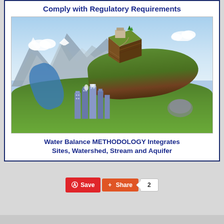Comply with Regulatory Requirements
[Figure (illustration): 3D conceptual illustration showing water balance methodology: a large floating terrain with a cross-section soil block on top with green trees and a building, a curved landscape with mountains, river, and industrial buildings with smoke stacks below, representing Sites, Watershed, Stream and Aquifer integration.]
Water Balance METHODOLOGY Integrates Sites, Watershed, Stream and Aquifer
Save  Share  2